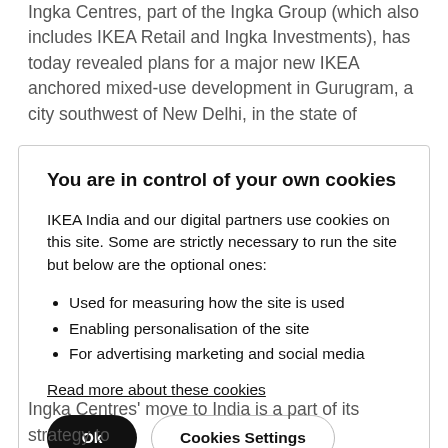Ingka Centres, part of the Ingka Group (which also includes IKEA Retail and Ingka Investments), has today revealed plans for a major new IKEA anchored mixed-use development in Gurugram, a city southwest of New Delhi, in the state of
You are in control of your own cookies
IKEA India and our digital partners use cookies on this site. Some are strictly necessary to run the site but below are the optional ones:
Used for measuring how the site is used
Enabling personalisation of the site
For advertising marketing and social media
Read more about these cookies
Ok
Cookies Settings
Ingka Centres' move to India is a part of its strategy to